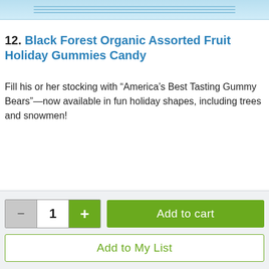[Figure (photo): Partial product image strip at top of page showing light blue candy packaging]
12. Black Forest Organic Assorted Fruit Holiday Gummies Candy
Fill his or her stocking with “America’s Best Tasting Gummy Bears”—now available in fun holiday shapes, including trees and snowmen!
Add to cart
Add to My List